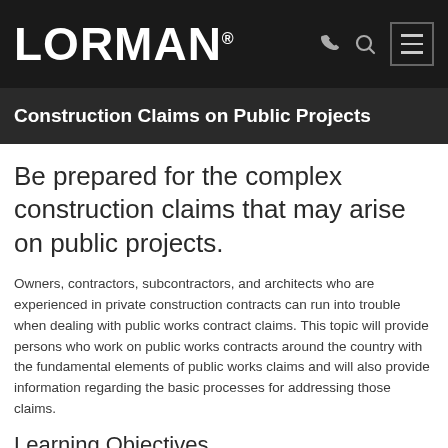LORMAN®
Construction Claims on Public Projects
Be prepared for the complex construction claims that may arise on public projects.
Owners, contractors, subcontractors, and architects who are experienced in private construction contracts can run into trouble when dealing with public works contract claims. This topic will provide persons who work on public works contracts around the country with the fundamental elements of public works claims and will also provide information regarding the basic processes for addressing those claims.
Learning Objectives